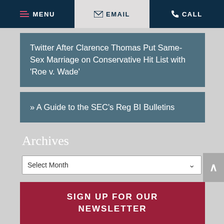MENU  EMAIL  CALL
Twitter After Clarence Thomas Put Same-Sex Marriage on Conservative Hit List with 'Roe v. Wade'
» A Guide to the SEC's Reg BI Bulletins
Archives
Select Month
SIGN UP FOR OUR NEWSLETTER